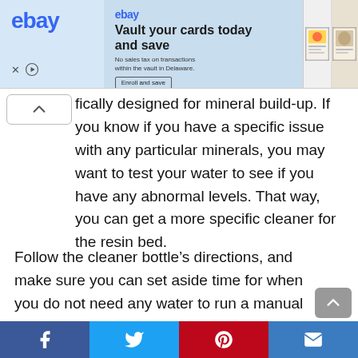[Figure (screenshot): eBay advertisement banner: 'Vault your cards today and save' with card images on right]
fically designed for mineral build-up. If you know if you have a specific issue with any particular minerals, you may want to test your water to see if you have any abnormal levels. That way, you can get a more specific cleaner for the resin bed.
Follow the cleaner bottle’s directions, and make sure you can set aside time for when you do not need any water to run a manual regeneration cycle.
[Figure (infographic): Social media share bar with Facebook, Twitter, Pinterest, and Email buttons]